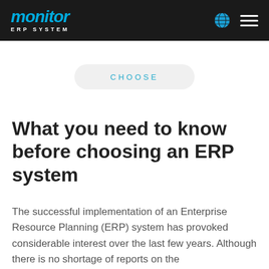Monitor ERP System
CHOOSE
What you need to know before choosing an ERP system
The successful implementation of an Enterprise Resource Planning (ERP) system has provoked considerable interest over the last few years. Although there is no shortage of reports on the